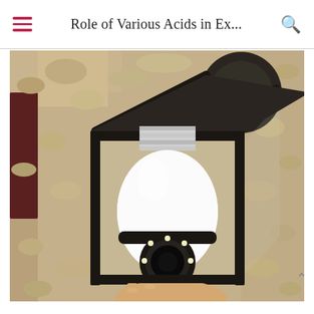Role of Various Acids in Ex...
[Figure (photo): A person's hand holding a white security camera light bulb, being installed into a black outdoor lantern-style wall fixture mounted on a textured stucco wall. The camera bulb has LED lights around its lens at the bottom.]